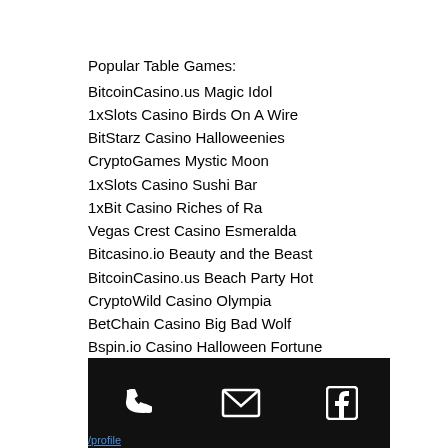Popular Table Games:
BitcoinCasino.us Magic Idol
1xSlots Casino Birds On A Wire
BitStarz Casino Halloweenies
CryptoGames Mystic Moon
1xSlots Casino Sushi Bar
1xBit Casino Riches of Ra
Vegas Crest Casino Esmeralda
Bitcasino.io Beauty and the Beast
BitcoinCasino.us Beach Party Hot
CryptoWild Casino Olympia
BetChain Casino Big Bad Wolf
Bspin.io Casino Halloween Fortune
1xBit Casino Arcade
FortuneJack Casino Secrets of Atlantis
Sportsbet.io Tesoro Pirata
/profile